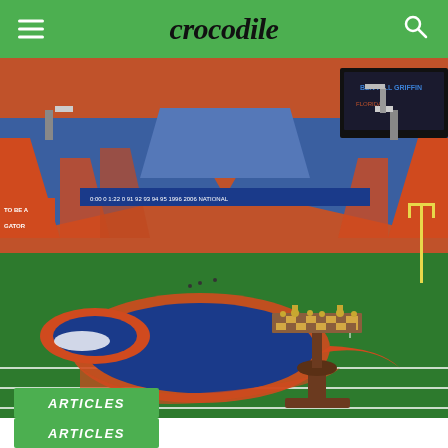crocodile
[Figure (photo): Ben Hill Griffin Stadium (The Swamp) at University of Florida, empty stands with orange and blue seating, green football field with Florida Gators logo at center, a chess set on a decorative wooden pedestal placed on the field, scoreboard visible in upper right, signage reading 'TO BE A GATOR' on left side, 'BEN HILL GRIFFIN' visible upper right, '1996 2006 NATIONAL' banner visible.]
ARTICLES